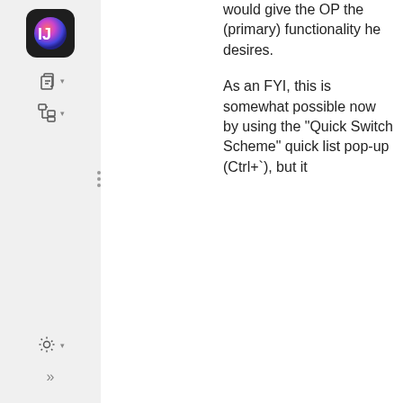[Figure (screenshot): IDE sidebar with IntelliJ IDEA icon, copy/paste tool icon with dropdown, hierarchy icon with dropdown, and settings gear icon with dropdown and chevron at bottom]
would give the OP the (primary) functionality he desires.
As an FYI, this is somewhat possible now by using the "Quick Switch Scheme" quick list pop-up (Ctrl+`), but it